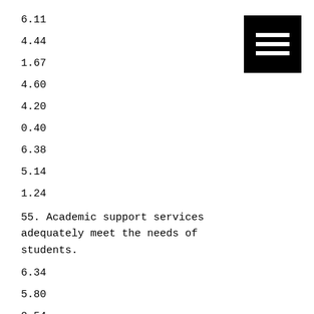6.11
4.44
1.67
4.60
4.20
0.40
6.38
5.14
1.24
55. Academic support services adequately meet the needs of students.
6.34
5.80
0.54
6.13
[Figure (other): Menu/hamburger icon — three horizontal white lines on a black square background]